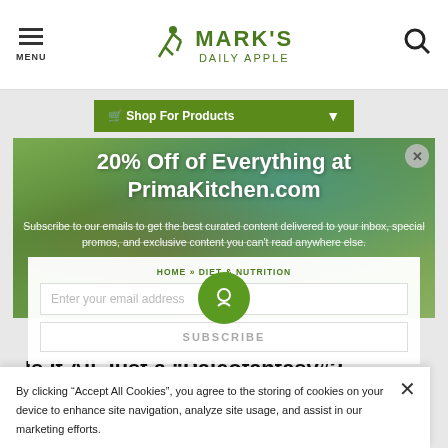Mark's Daily Apple — MENU | Logo | Search
Shop For Products
[Figure (photo): Background photo of a person in kitchen area, overlaid with a semi-transparent green promotional banner]
20% Off of Everything at PrimaKitchen.com
Subscribe to our emails to get the best curated content delivered to your inbox, special promos, and exclusive content you can't read anywhere else.
Enter your email address
SUBSCRIBE
HOME » DIET & NUTRITION
Is It All Just a “Paleofantasy”?
By Mark Sisson
By clicking “Accept All Cookies”, you agree to the storing of cookies on your device to enhance site navigation, analyze site usage, and assist in our marketing efforts.